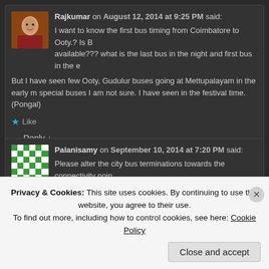Rajkumar on August 12, 2014 at 9:25 PM said: I want to know the first bus timing from Coimbatore to Ooty.? Is B available??? what is the last bus in the night and first bus in the e But I have seen few Ooty, Gudulur buses going at Mettupalayam in the early m special buses I am not sure. I have seen in the festival time.(Pongal)
Like
Reply ↓
Palanisamy on September 10, 2014 at 7:20 PM said: Please alter the city bus terminations towards the connectivity poin passengers to go any direction getting connection easy. Higher offi transportation facilitties..
Privacy & Cookies: This site uses cookies. By continuing to use this website, you agree to their use. To find out more, including how to control cookies, see here: Cookie Policy
Close and accept